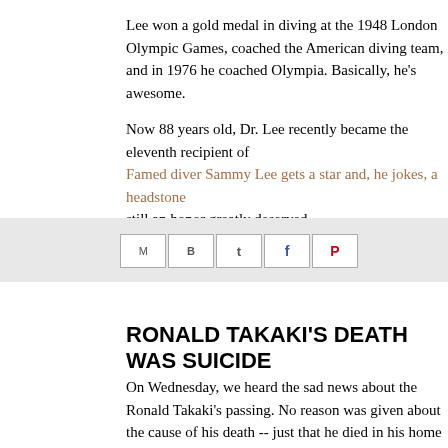Lee won a gold medal in diving at the 1948 London Olympic Games, coached the American diving team, and in 1976 he coached Olympia. Basically, he's awesome.
Now 88 years old, Dr. Lee recently became the eleventh recipient of Famed diver Sammy Lee gets a star and, he jokes, a headstone still an honor greatly deserved.
[Figure (other): Social media sharing icons: Email (M), Blogger (B), Twitter (t), Facebook (f), Pinterest (P)]
RONALD TAKAKI'S DEATH WAS SUICIDE
On Wednesday, we heard the sad news about the Ronald Takaki's passing. No reason was given about the cause of his death -- just that he died in his home on Monday. Now we learn that Professor Takaki committed suicide: Ronald T. Takaki dies at 70; p...
A prolific and sometimes controversial scholar, he had struggled for years with a potentially debilitating neurological disease for which there is no cure. He couldn't bear it anymore, and took his own life.
This is devastating. Takaki was a profoundly influential activist, think...